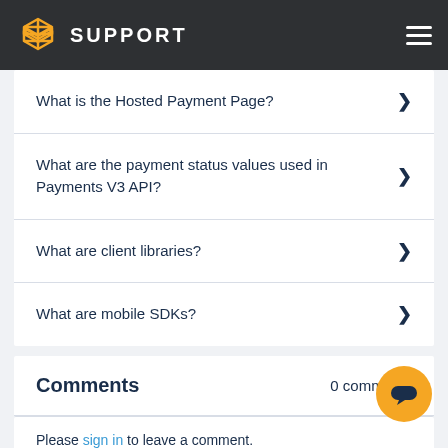SUPPORT
What is the Hosted Payment Page?
What are the payment status values used in Payments V3 API?
What are client libraries?
What are mobile SDKs?
Comments
0 comments
Please sign in to leave a comment.